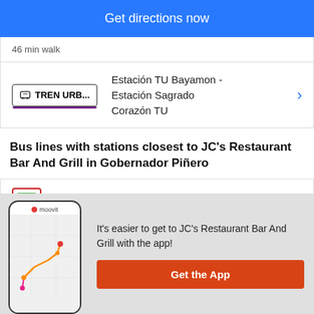[Figure (screenshot): Blue 'Get directions now' button]
46 min walk
[Figure (screenshot): TREN URB... transit line badge with train icon, showing route Estación TU Bayamon - Estación Sagrado Corazón TU with chevron]
Bus lines with stations closest to JC's Restaurant Bar And Grill in Gobernador Piñero
[Figure (screenshot): Bus card with green icon]
[Figure (infographic): Moovit app promotion overlay with phone mockup showing map route]
It's easier to get to JC's Restaurant Bar And Grill with the app!
[Figure (screenshot): Orange 'Get the App' button]